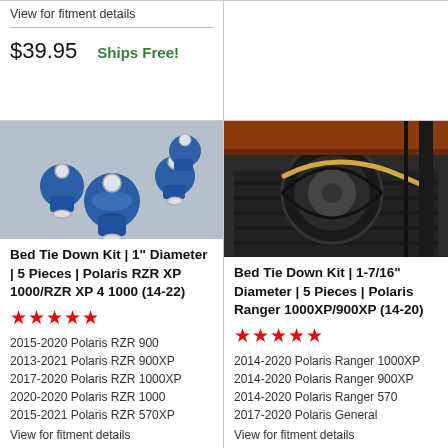View for fitment details
$39.95   Ships Free!
[Figure (photo): Blue bed tie down anchor hardware pieces with eye bolts and threaded inserts]
Bed Tie Down Kit | 1" Diameter | 5 Pieces | Polaris RZR XP 1000/RZR XP 4 1000 (14-22)
★★★★★
2015-2020 Polaris RZR 900
2013-2021 Polaris RZR 900XP
2017-2020 Polaris RZR 1000XP
2020-2020 Polaris RZR 1000
2015-2021 Polaris RZR 570XP
View for fitment details
[Figure (photo): Spare tire secured in bed of Polaris Ranger with tie down strap]
Bed Tie Down Kit | 1-7/16" Diameter | 5 Pieces | Polaris Ranger 1000XP/900XP (14-20)
★★★★★
2014-2020 Polaris Ranger 1000XP
2014-2020 Polaris Ranger 900XP
2014-2020 Polaris Ranger 570
2017-2020 Polaris General
View for fitment details